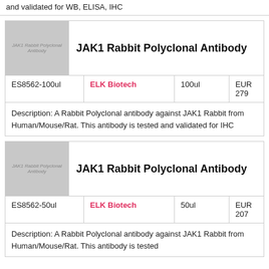and validated for WB, ELISA, IHC
JAK1 Rabbit Polyclonal Antibody
[Figure (photo): Product image placeholder for JAK1 Rabbit Polyclonal Antibody]
| ES8562-100ul | ELK Biotech | 100ul | EUR 279 |
| --- | --- | --- | --- |
Description: A Rabbit Polyclonal antibody against JAK1 Rabbit from Human/Mouse/Rat. This antibody is tested and validated for IHC
JAK1 Rabbit Polyclonal Antibody
[Figure (photo): Product image placeholder for JAK1 Rabbit Polyclonal Antibody]
| ES8562-50ul | ELK Biotech | 50ul | EUR 207 |
| --- | --- | --- | --- |
Description: A Rabbit Polyclonal antibody against JAK1 Rabbit from Human/Mouse/Rat. This antibody is tested